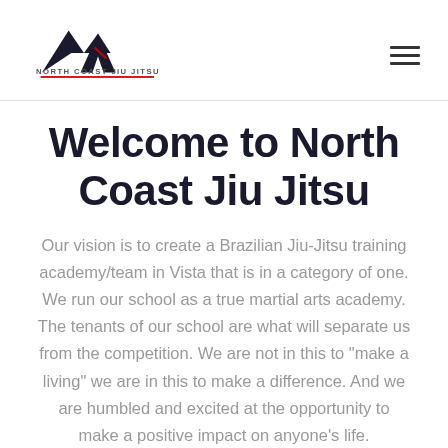[Figure (logo): North Coast Jiu Jitsu logo with geometric mountain/arrow shapes in black and red, with text 'NORTH COAST JIU JITSU' below in bold caps with red underline]
Welcome to North Coast Jiu Jitsu
Our vision is to create a Brazilian Jiu-Jitsu training academy/team in Vista that is in a category of one. We run our school as a true martial arts academy. The tenants of our school are what will separate us from the competition. We are not in this to “make a living” we are in this to make a difference. And we are humbled and excited at the opportunity to make a positive impact on anyone’s life.